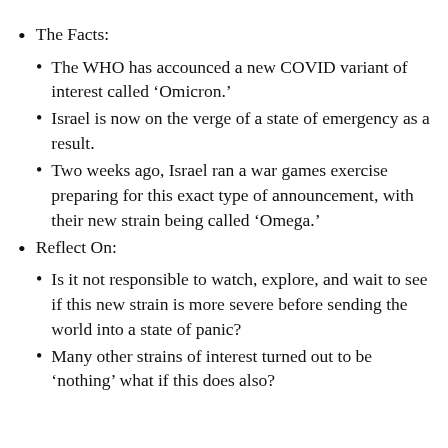The Facts:
The WHO has accounced a new COVID variant of interest called ‘Omicron.’
Israel is now on the verge of a state of emergency as a result.
Two weeks ago, Israel ran a war games exercise preparing for this exact type of announcement, with their new strain being called ‘Omega.’
Reflect On:
Is it not responsible to watch, explore, and wait to see if this new strain is more severe before sending the world into a state of panic?
Many other strains of interest turned out to be ‘nothing’ what if this does also?